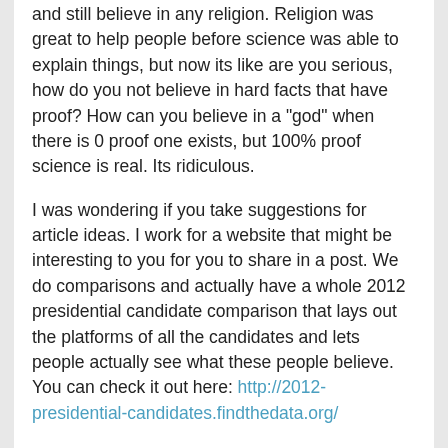and still believe in any religion. Religion was great to help people before science was able to explain things, but now its like are you serious, how do you not believe in hard facts that have proof? How can you believe in a "god" when there is 0 proof one exists, but 100% proof science is real. Its ridiculous.
I was wondering if you take suggestions for article ideas. I work for a website that might be interesting to you for you to share in a post. We do comparisons and actually have a whole 2012 presidential candidate comparison that lays out the platforms of all the candidates and lets people actually see what these people believe. You can check it out here: http://2012-presidential-candidates.findthedata.org/
Please send me an email and I would love to give you more information and other comparisons that would be cool to share.
Thanks so much Brian.
Kevin
Posted by: Kevin Sloan | November 03, 2011 at 10:54 AM